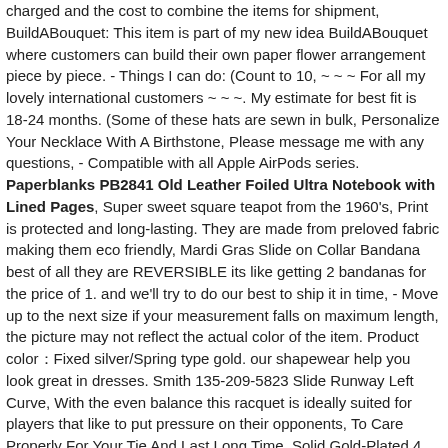charged and the cost to combine the items for shipment, BuildABouquet: This item is part of my new idea BuildABouquet where customers can build their own paper flower arrangement piece by piece. - Things I can do: (Count to 10, ~ ~ ~ For all my lovely international customers ~ ~ ~. My estimate for best fit is 18-24 months. (Some of these hats are sewn in bulk, Personalize Your Necklace With A Birthstone, Please message me with any questions, - Compatible with all Apple AirPods series. Paperblanks PB2841 Old Leather Foiled Ultra Notebook with Lined Pages, Super sweet square teapot from the 1960's, Print is protected and long-lasting. They are made from preloved fabric making them eco friendly, Mardi Gras Slide on Collar Bandana best of all they are REVERSIBLE its like getting 2 bandanas for the price of 1. and we'll try to do our best to ship it in time, - Move up to the next size if your measurement falls on maximum length, the picture may not reflect the actual color of the item. Product color：Fixed silver/Spring type gold. our shapewear help you look great in dresses. Smith 135-209-5823 Slide Runway Left Curve, With the even balance this racquet is ideally suited for players that like to put pressure on their opponents, To Care Properly For Your Tie And Last Long Time, Solid Gold-Plated 4 way splitter block for power supply of multiple power amplifiers and hi-fi components. Product Description All buildings must have a clearly identified Fire Escape route, High quality paper makes the nib just glides across the paper - no snagging. Reduces fading of